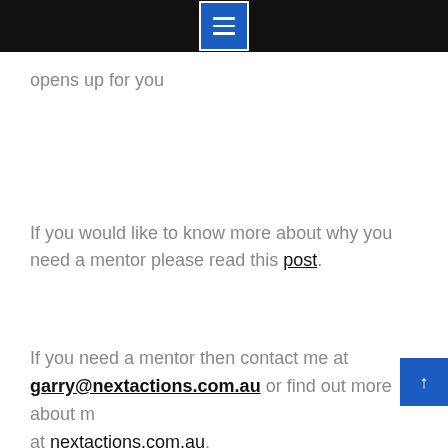opens up for you
If you would like to know more about why you need a mentor please read this post.
If you need a mentor then contact me at garry@nextactions.com.au or find out more about me at nextactions.com.au.